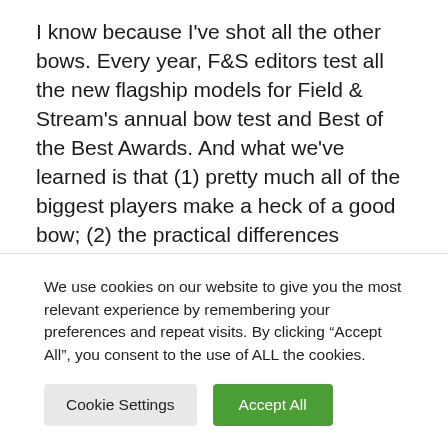I know because I've shot all the other bows. Every year, F&S editors test all the new flagship models for Field & Stream's annual bow test and Best of the Best Awards. And what we've learned is that (1) pretty much all of the biggest players make a heck of a good bow; (2) the practical differences between the brands' top models is fairly small; and (3) which brand is at the very top of heap changes regularly. Years back, Mathews and Hoyt dominated. For a while, it was all Bowtech and Elite. Then
We use cookies on our website to give you the most relevant experience by remembering your preferences and repeat visits. By clicking “Accept All”, you consent to the use of ALL the cookies.
Cookie Settings | Accept All